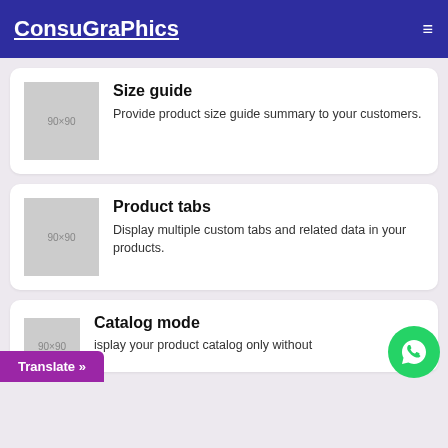ConsuGraphics
Size guide
Provide product size guide summary to your customers.
Product tabs
Display multiple custom tabs and related data in your products.
Catalog mode
Display your product catalog only without